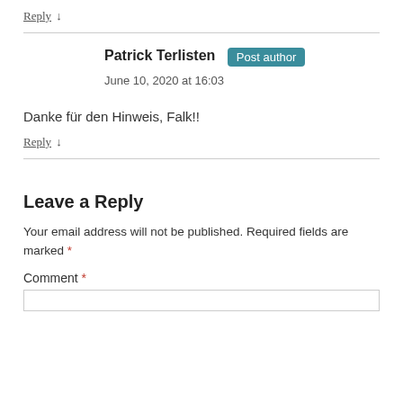Reply ↓
Patrick Terlisten  Post author
June 10, 2020 at 16:03
Danke für den Hinweis, Falk!!
Reply ↓
Leave a Reply
Your email address will not be published. Required fields are marked *
Comment *